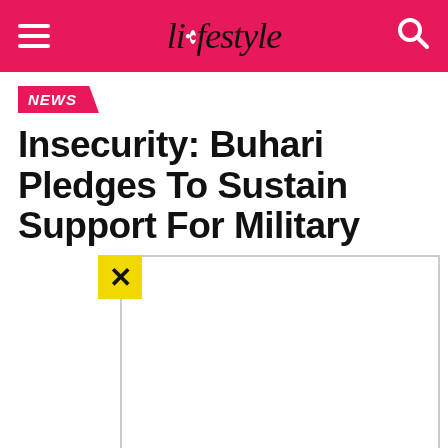lifestyle
NEWS
Insecurity: Buhari Pledges To Sustain Support For Military
[Figure (other): Advertisement box with yellow close (X) button overlay]